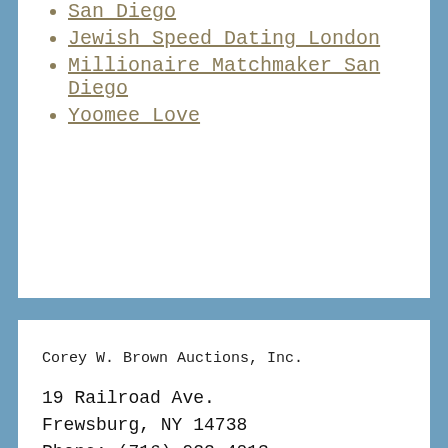San Diego
Jewish Speed Dating London
Millionaire Matchmaker San Diego
Yoomee Love
Corey W. Brown Auctions, Inc.
19 Railroad Ave.
Frewsburg, NY 14738
Phone: (716) 922-4013